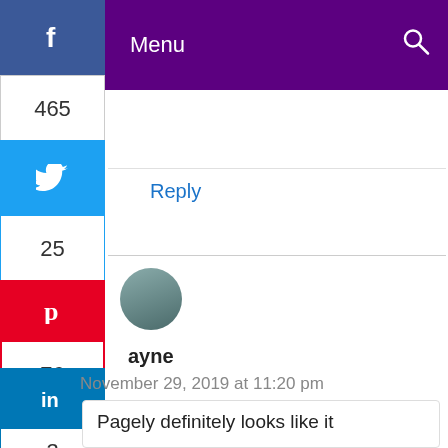Menu
Reply
ayne
November 29, 2019 at 11:20 pm
Pagely definitely looks like it